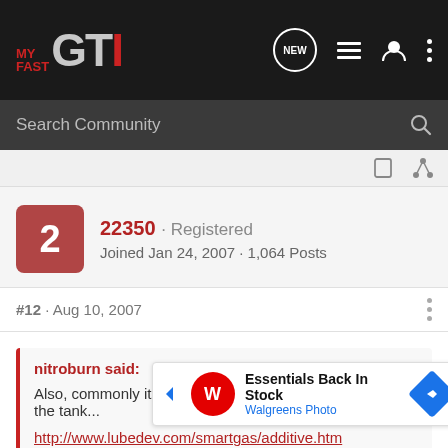MY FAST GTI
Search Community
22350 · Registered
Joined Jan 24, 2007 · 1,064 Posts
#12 · Aug 10, 2007
nitroburn said:
Also, commonly its Acetone that you hear of being put in the tank...
http://www.lubedev.com/smartgas/additive.htm
Take that url with a huge grain of salt.
That wa... sting.
[Figure (infographic): Walgreens Photo ad banner: Essentials Back In Stock]